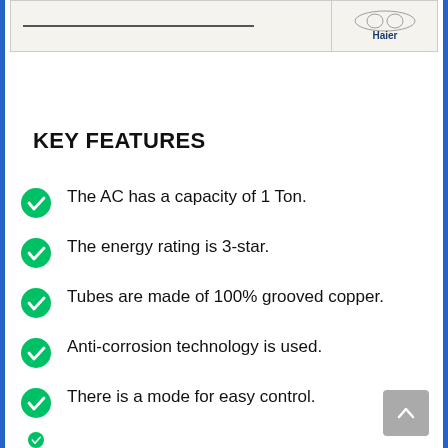[Figure (screenshot): Partial product image showing Haier AC unit top portion with logo]
KEY FEATURES
The AC has a capacity of 1 Ton.
The energy rating is 3-star.
Tubes are made of 100% grooved copper.
Anti-corrosion technology is used.
There is a mode for easy control.